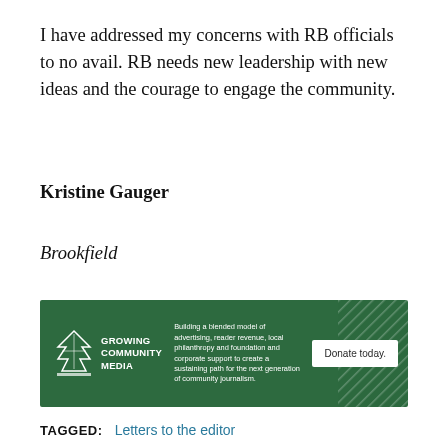I have addressed my concerns with RB officials to no avail. RB needs new leadership with new ideas and the courage to engage the community.
Kristine Gauger
Brookfield
[Figure (infographic): Growing Community Media advertisement banner with green background. Shows logo with tree graphic, text about building a blended model of advertising, reader revenue, local philanthropy and foundation and corporate support to create a sustaining path for the next generation of community journalism, and a Donate today button.]
TAGGED: Letters to the editor